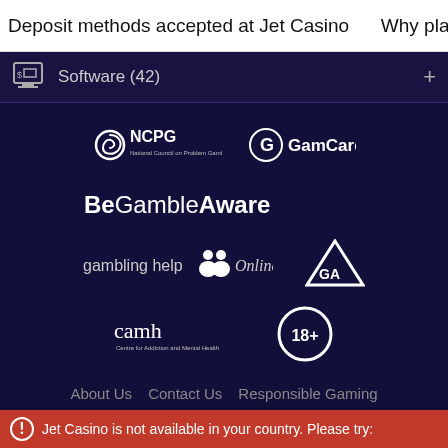Deposit methods accepted at Jet Casino   Why play at
Software (42)
[Figure (logo): NCPG - National Council on Problem Gambling logo (white, circular spiral icon with text)]
[Figure (logo): GamCare logo (white G icon with GamCare text)]
[Figure (logo): BeGambleAware logo (white text with Be bold and GambleAware bold)]
[Figure (logo): gambling help Online logo with people icon]
[Figure (logo): GA (Gamblers Anonymous) triangle logo]
[Figure (logo): camh - Centre for Addiction and Mental Health logo]
[Figure (logo): 18+ age restriction badge (circle with 18+ text)]
About Us   Contact Us   Responsible Gaming
Jet Casino is not available in your country. Please try: